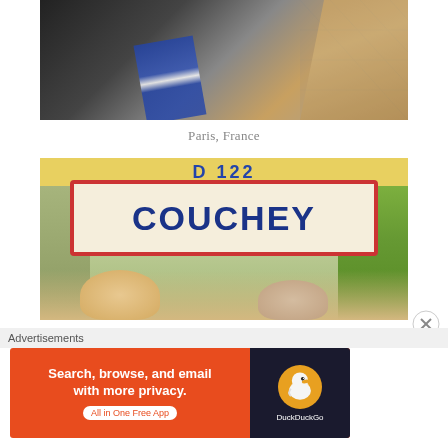[Figure (photo): Two people photographed from above/close-up selfie style, one wearing a dark jacket, one with long blonde hair wearing a blue and white patterned scarf, with stone/brick tiles visible in background]
Paris, France
[Figure (photo): Two people posing in front of a French town entrance sign reading 'COUCHEY' with a red border, and a road sign reading 'D 122' above it, with trees and countryside in background]
Advertisements
[Figure (screenshot): DuckDuckGo advertisement banner: 'Search, browse, and email with more privacy. All in One Free App' with DuckDuckGo logo on dark background]